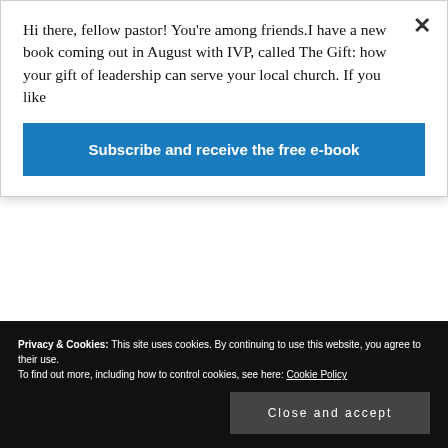Hi there, fellow pastor! You’re among friends. I have a new book coming out in August with IVP, called The Gift: how your gift of leadership can serve your local church. If you like
Subscribe and receive the free e-book
goal, though, is to get as close to that as I can, given the time (and brainpower) available. Realistically, it won’t be faultless, but that doesn’t invalidate the exercise if I have learnt truth along the way. John is not going to mark this exercise, and fail me if I’m not 100% on
Privacy & Cookies: This site uses cookies. By continuing to use this website, you agree to their use.
To find out more, including how to control cookies, see here: Cookie Policy
Close and accept
There will be a direction of flow in any